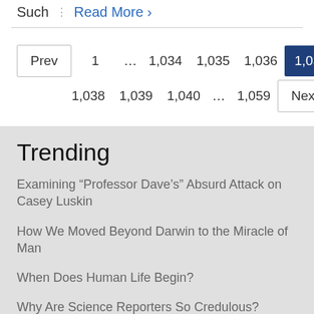Such  Read More ›
Prev  1  ...  1,034  1,035  1,036  1,037  1,038  1,039  1,040  ...  1,059  Next
Trending
Examining “Professor Dave’s” Absurd Attack on Casey Luskin
How We Moved Beyond Darwin to the Miracle of Man
When Does Human Life Begin?
Why Are Science Reporters So Credulous?